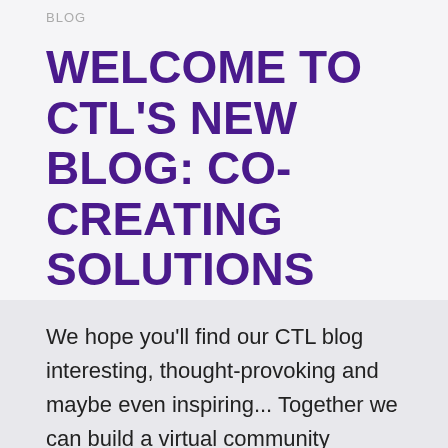BLOG
WELCOME TO CTL'S NEW BLOG: CO-CREATING SOLUTIONS
We hope you'll find our CTL blog interesting, thought-provoking and maybe even inspiring... Together we can build a virtual community focused on teaching and learning that will enrich all of our professional lives. For several years now